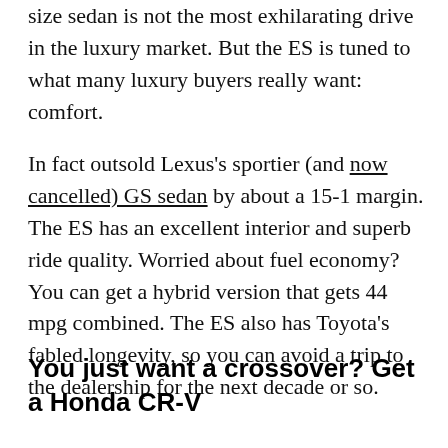size sedan is not the most exhilarating drive in the luxury market. But the ES is tuned to what many luxury buyers really want: comfort.
In fact outsold Lexus's sportier (and now cancelled) GS sedan by about a 15-1 margin. The ES has an excellent interior and superb ride quality. Worried about fuel economy? You can get a hybrid version that gets 44 mpg combined. The ES also has Toyota's fabled longevity, so you can avoid a trip to the dealership for the next decade or so.
You just want a crossover? Get a Honda CR-V